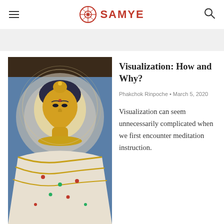SAMYE
[Figure (photo): Golden Buddha statue with ornate robes and halo, viewed from below against blue background]
Visualization: How and Why?
Phakchok Rinpoche • March 5, 2020
Visualization can seem unnecessarily complicated when we first encounter meditation instruction.